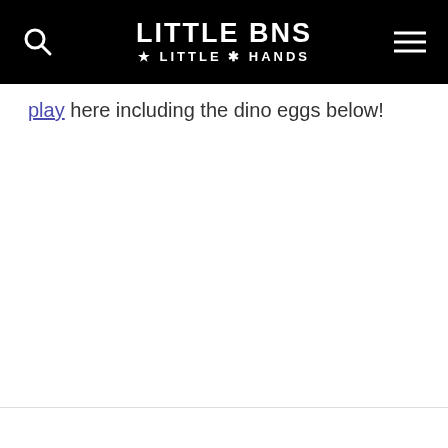LITTLE BINS LITTLE HANDS
play here including the dino eggs below!